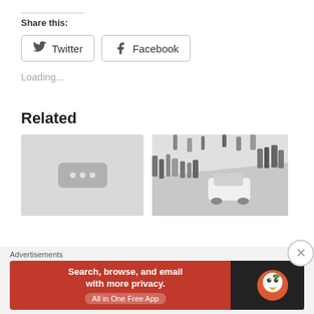Share this:
Twitter   Facebook
Loading...
Related
[Figure (photo): Placeholder thumbnail with three dots icon (grey box)]
[Figure (photo): Black and white aerial photo of crowd of people around a white car on a road]
Advertisements
[Figure (infographic): DuckDuckGo advertisement: Search, browse, and email with more privacy. All in One Free App. Orange background with DuckDuckGo logo on dark right panel.]